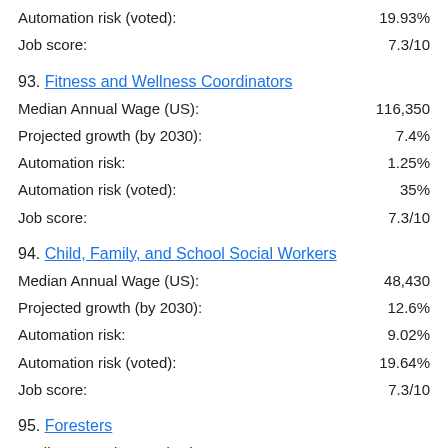Automation risk (voted): 19.93%
Job score: 7.3/10
93. Fitness and Wellness Coordinators
Median Annual Wage (US): 116,350
Projected growth (by 2030): 7.4%
Automation risk: 1.25%
Automation risk (voted): 35%
Job score: 7.3/10
94. Child, Family, and School Social Workers
Median Annual Wage (US): 48,430
Projected growth (by 2030): 12.6%
Automation risk: 9.02%
Automation risk (voted): 19.64%
Job score: 7.3/10
95. Foresters
Median Annual Wage (US): 63,980
Projected growth (by 2030): 10%
Automation risk: 2.91%